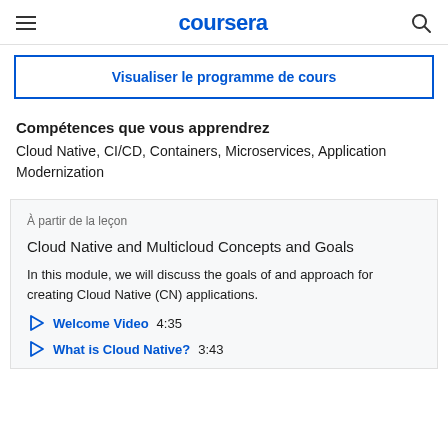coursera
Visualiser le programme de cours
Compétences que vous apprendrez
Cloud Native, CI/CD, Containers, Microservices, Application Modernization
À partir de la leçon
Cloud Native and Multicloud Concepts and Goals
In this module, we will discuss the goals of and approach for creating Cloud Native (CN) applications.
Welcome Video  4:35
What is Cloud Native?  3:43